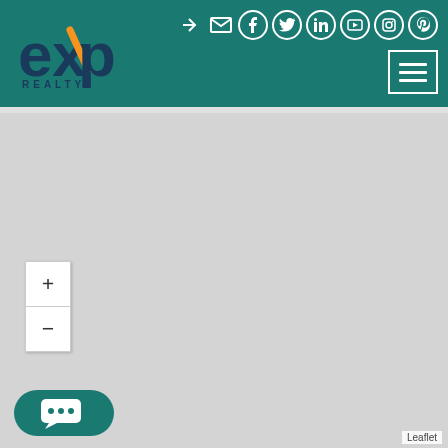[Figure (logo): eXp Realty logo with orange accent mark]
[Figure (screenshot): Website header with social media icons (login, email, Facebook, Twitter, LinkedIn, YouTube, Instagram, Pinterest) and hamburger menu button on teal/dark green background]
[Figure (map): Leaflet map area showing a grey placeholder map with zoom in (+) and zoom out (-) controls in the upper left, a teal chat button in the lower left, and Leaflet attribution in the lower right]